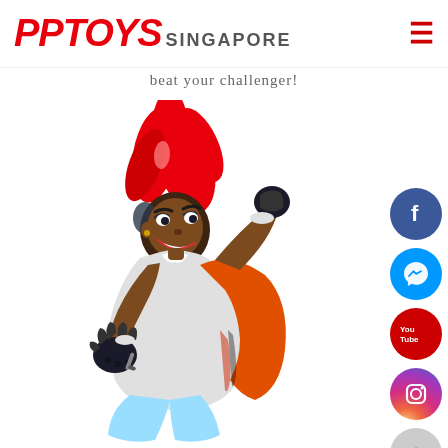[Figure (logo): PPTOYS SINGAPORE logo in red bold italic text with SINGAPORE in gray uppercase]
beat your challenger!
[Figure (illustration): Anime-style cartoon boy mascot with red flame hair, orange cape, dark fingerless gloves, jumping pose]
[Figure (infographic): Social media icons on right side: Facebook (blue circle with f), Messenger (blue circle with lightning bolt), YouTube (red circle with You Tube text), Instagram (pink/purple gradient circle with camera icon), scroll-up button (gray circle with up arrow)]